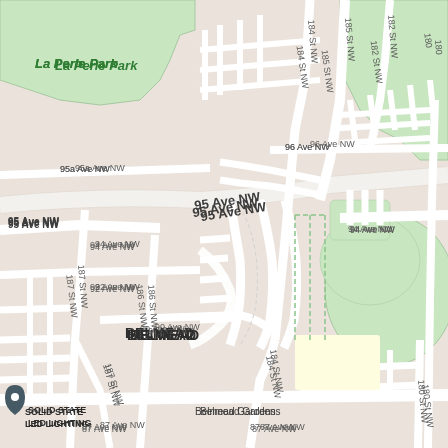[Figure (map): Google Maps view of Belmead neighborhood in Edmonton, Alberta, Canada. Shows streets including 95 Ave NW, 87 Ave NW, 184 St NW, 185 St NW, 182 St NW, 186 St NW, 187 St NW, 184 St NW, 180 St NW. Notable landmarks include La Perle Park, Primrose Park, Belmead Park, Belmead School, St Benedict Catholic School, Carrington Place, Belmead Gardens, Solid State LED Lighting. Business markers include Exhale Vape and Smoke, Bubble Tea Depot. A red location pin is shown in the center of the map.]